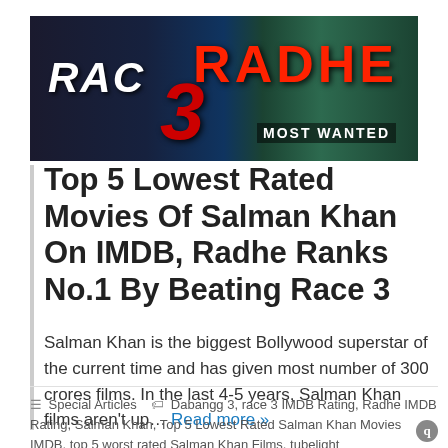[Figure (photo): Split image showing Race 3 movie logo on left (dark blue background with red number 3) and Radhe: Your Most Wanted Bhai poster on right (green background with red RADHE text and MOST WANTED label)]
Top 5 Lowest Rated Movies Of Salman Khan On IMDB, Radhe Ranks No.1 By Beating Race 3
Salman Khan is the biggest Bollywood superstar of the current time and has given most number of 300 crores films. In the last 4-5 years, Salman Khan films aren't up… Read more »
Special Articles   Dabangg 3, race 3 IMDB Rating, Radhe IMDB Rating, Salman Khan, Top 5 Lowest Rated Salman Khan Movies IMDB, top 5 worst rated Salman Khan Films, tubelight